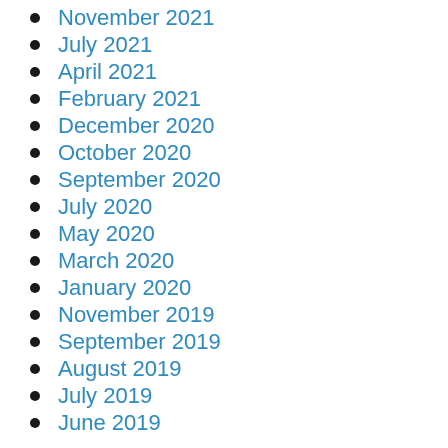November 2021
July 2021
April 2021
February 2021
December 2020
October 2020
September 2020
July 2020
May 2020
March 2020
January 2020
November 2019
September 2019
August 2019
July 2019
June 2019